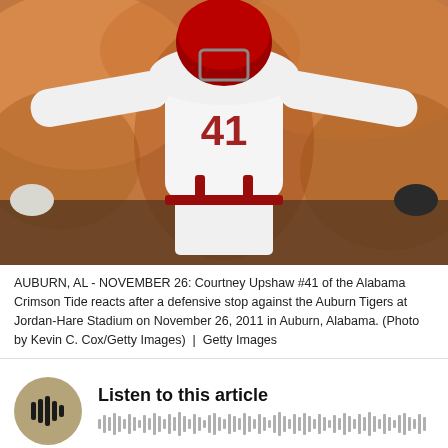[Figure (photo): Football player Courtney Upshaw #41 of the Alabama Crimson Tide in white uniform celebrating with arms spread wide at Jordan-Hare Stadium, blurred orange crowd in background.]
AUBURN, AL - NOVEMBER 26: Courtney Upshaw #41 of the Alabama Crimson Tide reacts after a defensive stop against the Auburn Tigers at Jordan-Hare Stadium on November 26, 2011 in Auburn, Alabama. (Photo by Kevin C. Cox/Getty Images)  |  Getty Images
Listen to this article